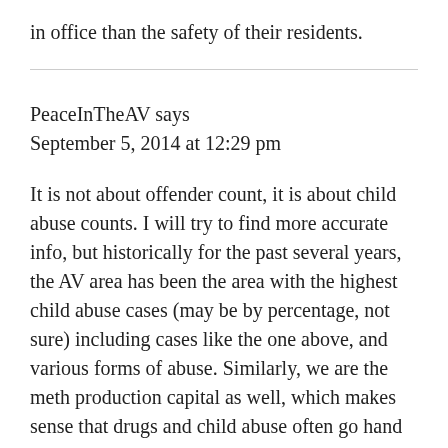in office than the safety of their residents.
PeaceInTheAV says
September 5, 2014 at 12:29 pm
It is not about offender count, it is about child abuse counts. I will try to find more accurate info, but historically for the past several years, the AV area has been the area with the highest child abuse cases (may be by percentage, not sure) including cases like the one above, and various forms of abuse. Similarly, we are the meth production capital as well, which makes sense that drugs and child abuse often go hand